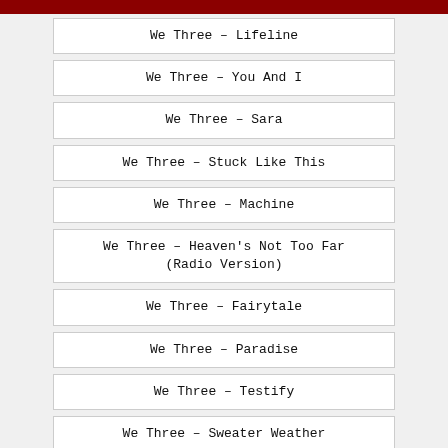We Three – Lifeline
We Three – You And I
We Three – Sara
We Three – Stuck Like This
We Three – Machine
We Three – Heaven's Not Too Far (Radio Version)
We Three – Fairytale
We Three – Paradise
We Three – Testify
We Three – Sweater Weather
We Three – Running